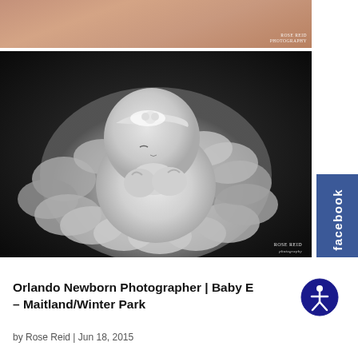[Figure (photo): Top cropped photo strip showing a skin-toned background with 'ROSE REID photography' watermark in bottom right]
[Figure (photo): Black and white newborn photography by Rose Reid showing a baby with a floral headband nestled in a chunky knit blanket in a bowl prop, looking downward with hands tucked under chin. Watermark 'ROSE REID photography' in bottom right.]
Orlando Newborn Photographer | Baby E – Maitland/Winter Park
by Rose Reid | Jun 18, 2015